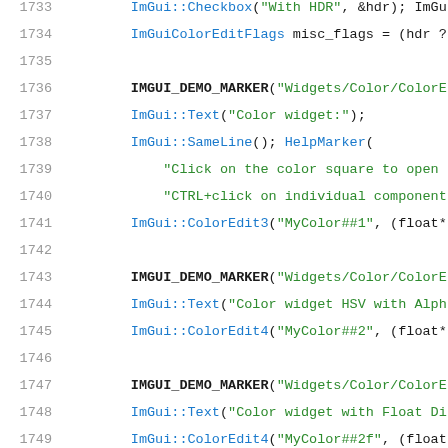[Figure (screenshot): Source code screenshot showing C++ ImGui demo code, lines 1733-1754, with line numbers in gray on left, keywords in dark, macro calls in bold dark, string literals in green, function calls in blue/dark teal.]